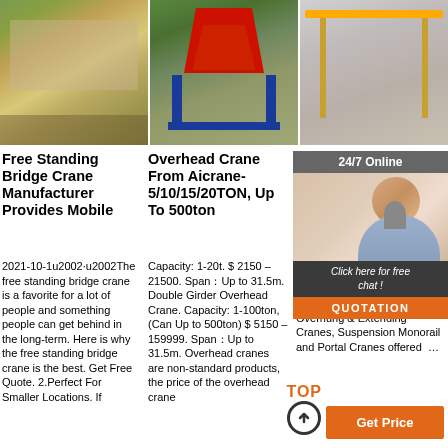[Figure (photo): Three crane/construction site photos arranged horizontally at top of page]
Free Standing Bridge Crane Manufacturer Provides Mobile
2021-10-1u2002·u2002The free standing bridge crane is a favorite for a lot of people and something people can get behind in the long-term. Here is why the free standing bridge crane is the best. Get Free Quote. 2.Perfect For Smaller Locations. If
Overhead Crane From Aicrane- 5/10/15/20TON, Up To 500ton
Capacity: 1-20t. $ 2150 – 21500. Span：Up to 31.5m. Double Girder Overhead Crane. Capacity: 1-100ton, (Can Up to 500ton) $ 5150 – 159999. Span：Up to 31.5m. Overhead cranes are non-standard products, the price of the overhead crane
KBK Light System, Girder Suspension Cranes
Manufacturer of Light Crane, Single Girder Suspension Cranes, Overhung & Extending Cranes, Suspension Monorail and Portal Cranes offered ...
[Figure (screenshot): 24/7 Online chat overlay with agent photo, 'Click here for free chat!' text, and QUOTATION button]
[Figure (other): Get Price orange button and TOP scroll-up indicator with circle arrow]
Get Price